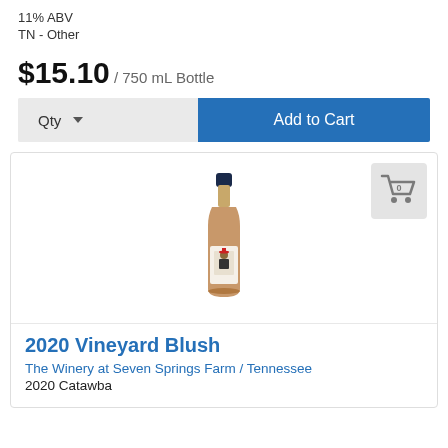11% ABV
TN - Other
$15.10 / 750 mL Bottle
[Figure (screenshot): Qty dropdown and Add to Cart button UI]
[Figure (photo): Wine bottle photo for 2020 Vineyard Blush with label showing a cat in a hat]
2020 Vineyard Blush
The Winery at Seven Springs Farm / Tennessee
2020 Catawba